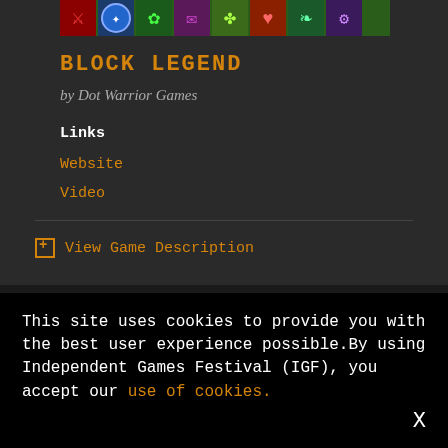[Figure (screenshot): Colorful game icons/sprites banner at the top of the page for Block Legend game]
BLOCK LEGEND
by Dot Warrior Games
Links
Website
Video
+ View Game Description
This site uses cookies to provide you with the best user experience possible.By using Independent Games Festival (IGF), you accept our use of cookies.